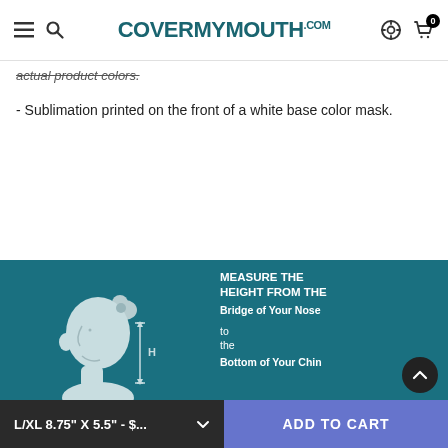CoverMyMouth.com
actual product colors.
- Sublimation printed on the front of a white base color mask.
[Figure (infographic): Face Mask Size Guide - Find Your Fit. Teal background section with illustration of a person's head profile showing how to measure face mask height from bridge of nose to bottom of chin, labeled with 'H'. Text: MEASURE THE HEIGHT FROM THE Bridge of Your Nose to the Bottom of Your Chin.]
L/XL 8.75" X 5.5" - $... ADD TO CART